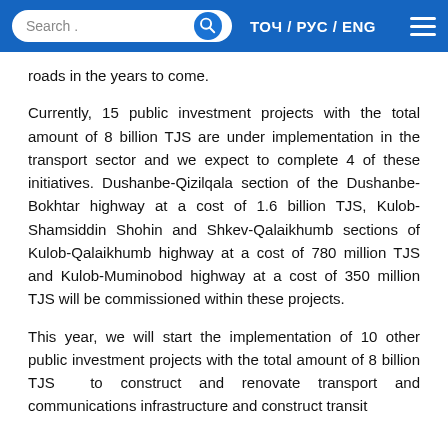Search… ТОЧ / РУС / ENG
roads in the years to come.
Currently, 15 public investment projects with the total amount of 8 billion TJS are under implementation in the transport sector and we expect to complete 4 of these initiatives. Dushanbe-Qizilqala section of the Dushanbe-Bokhtar highway at a cost of 1.6 billion TJS, Kulob-Shamsiddin Shohin and Shkev-Qalaikhumb sections of Kulob-Qalaikhumb highway at a cost of 780 million TJS and Kulob-Muminobod highway at a cost of 350 million TJS will be commissioned within these projects.
This year, we will start the implementation of 10 other public investment projects with the total amount of 8 billion TJS  to construct and renovate transport and communications infrastructure and construct transit